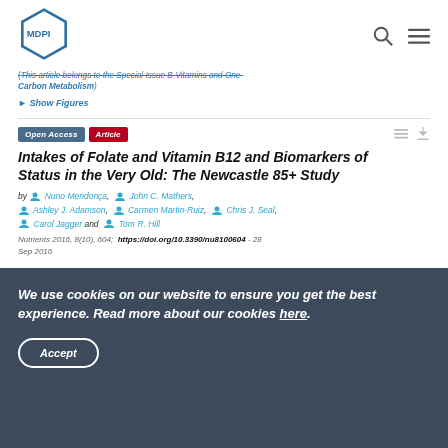[Figure (logo): MDPI hexagon logo]
(This article belongs to the Special Issue B-Vitamins and One Carbon Metabolism)
► Show Figures
Open Access  Article
Intakes of Folate and Vitamin B12 and Biomarkers of Status in the Very Old: The Newcastle 85+ Study
by Nuno Mendonça, John C. Mathers, Ashley J. Adamson, Carmen Martin-Ruiz, Chris J. Seal, Carol Jagger and Tom R. Hill
Nutrients 2016, 8(10), 604; https://doi.org/10.3390/nu8100604 - 28 Sep 2016
We use cookies on our website to ensure you get the best experience. Read more about our cookies here.
Accept